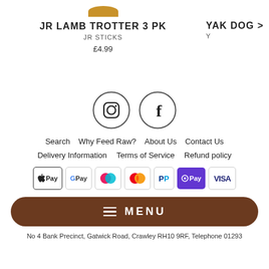JR LAMB TROTTER 3 PK
JR STICKS
£4.99
YAK DOG
[Figure (illustration): Instagram and Facebook social media icons in circles]
Search   Why Feed Raw?   About Us   Contact Us
Delivery Information   Terms of Service   Refund policy
[Figure (illustration): Payment method icons: Apple Pay, Google Pay, Maestro, Mastercard, PayPal, Shop Pay, Visa]
MENU
No 4 Bank Precinct, Gatwick Road, Crawley RH10 9RF, Telephone 01293